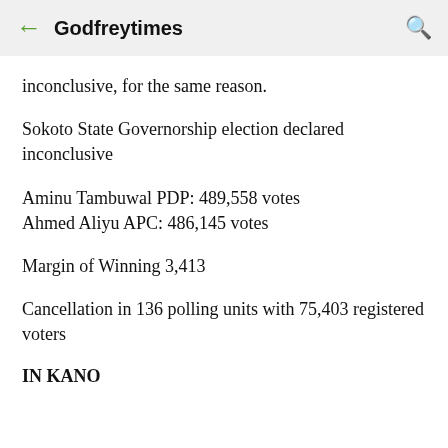← Godfreytimes 🔍
inconclusive, for the same reason.
Sokoto State Governorship election declared inconclusive
Aminu Tambuwal PDP: 489,558 votes
Ahmed Aliyu APC: 486,145 votes
Margin of Winning 3,413
Cancellation in 136 polling units with 75,403 registered voters
IN KANO